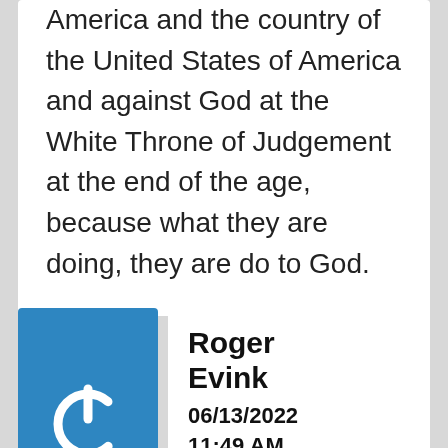America and the country of the United States of America and against God at the White Throne of Judgement at the end of the age, because what they are doing, they are do to God.
[Figure (logo): Blue square with a white power button icon (circle with a gap at top and a vertical line through the top)]
Roger Evink
06/13/2022 11:49 AM
Do we know